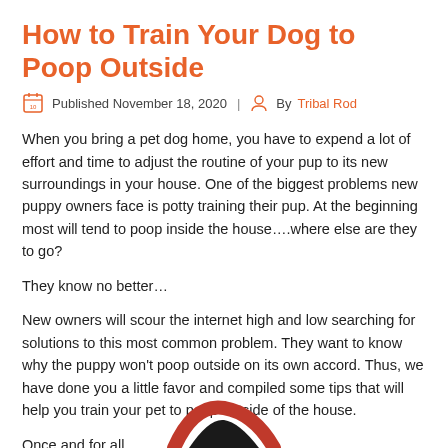How to Train Your Dog to Poop Outside
Published November 18, 2020 | By Tribal Rod
When you bring a pet dog home, you have to expend a lot of effort and time to adjust the routine of your pup to its new surroundings in your house. One of the biggest problems new puppy owners face is potty training their pup. At the beginning most will tend to poop inside the house….where else are they to go?
They know no better…
New owners will scour the internet high and low searching for solutions to this most common problem. They want to know why the puppy won't poop outside on its own accord. Thus, we have done you a little favor and compiled some tips that will help you train your pet to poop outside of the house.
Once and for all…
[Figure (logo): Partial logo visible at bottom of page, red and dark arc shapes]